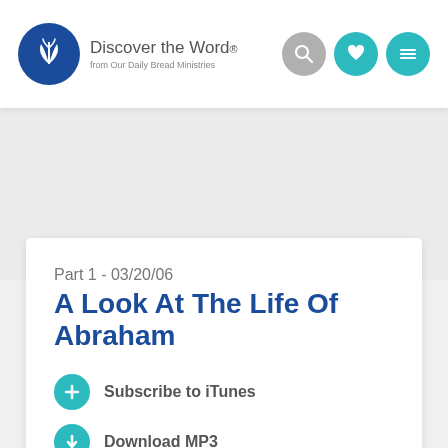[Figure (logo): Discover the Word logo — blue circle with wheat/cross emblem, text 'Discover the Word.' and 'from Our Daily Bread Ministries']
[Figure (screenshot): Navigation icons: gray search circle, teal heart circle, teal menu (hamburger) circle]
Part 1 - 03/20/06
A Look At The Life Of Abraham
Subscribe to iTunes
Download MP3